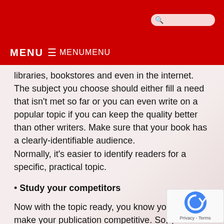MENU MENUMENU
libraries, bookstores and even in the internet. The subject you choose should either fill a need that isn't met so far or you can even write on a popular topic if you can keep the quality better than other writers. Make sure that your book has a clearly-identifiable audience.
Normally, it's easier to identify readers for a specific, practical topic.
• Study your competitors
Now with the topic ready, you know you must make your publication competitive. So, you need to make a study about the similar books. The study you do may feature whether comparable books are paperbacks or hardbacks, number of pages they contain, the pricing, and yes..this is